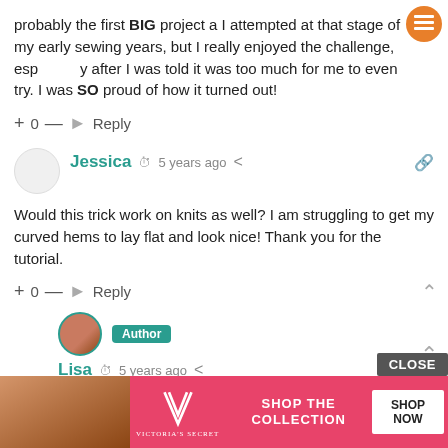probably the first BIG project a I attempted at that stage of my early sewing years, but I really enjoyed the challenge, especially after I was told it was too much for me to even try. I was SO proud of how it turned out!
+ 0 — → Reply
Jessica  5 years ago
Would this trick work on knits as well? I am struggling to get my curved hems to lay flat and look nice! Thank you for the tutorial.
+ 0 — → Reply
[Figure (photo): Author avatar photo with teal border and Author badge]
Lisa  5 years ago
Reply to Jessica
Ye
[Figure (advertisement): Victoria's Secret ad banner with model, VS logo, SHOP THE COLLECTION text, SHOP NOW button, and CLOSE button]